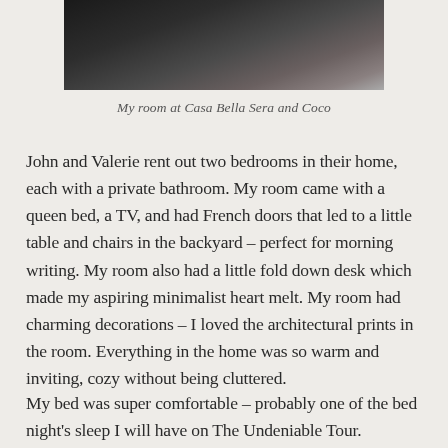[Figure (photo): Partial view of a dark room photo, cropped at the top of the page — appears to show a dimly lit interior, possibly a bedroom]
My room at Casa Bella Sera and Coco
John and Valerie rent out two bedrooms in their home, each with a private bathroom. My room came with a queen bed, a TV, and had French doors that led to a little table and chairs in the backyard – perfect for morning writing. My room also had a little fold down desk which made my aspiring minimalist heart melt. My room had charming decorations – I loved the architectural prints in the room. Everything in the home was so warm and inviting, cozy without being cluttered.
My bed was super comfortable – probably one of the bed night's sleep I will have on The Undeniable Tour.